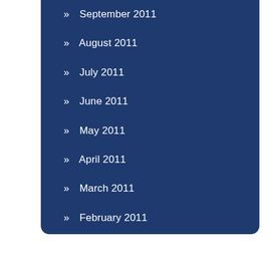» September 2011
» August 2011
» July 2011
» June 2011
» May 2011
» April 2011
» March 2011
» February 2011